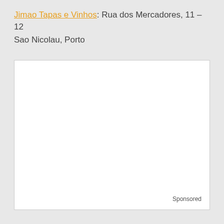Jimao Tapas e Vinhos: Rua dos Mercadores, 11 – 12 Sao Nicolau, Porto
[Figure (other): A blank white advertisement box with a 'Sponsored' label in the bottom right corner.]